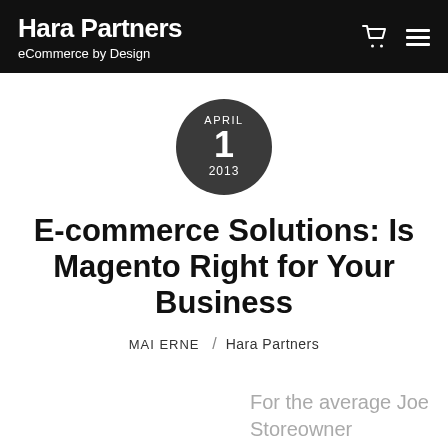Hara Partners — eCommerce by Design
[Figure (other): Dark circular date badge showing APRIL 1 2013]
E-commerce Solutions: Is Magento Right for Your Business
MAI ERNE / Hara Partners
For the average Joe Storeowner